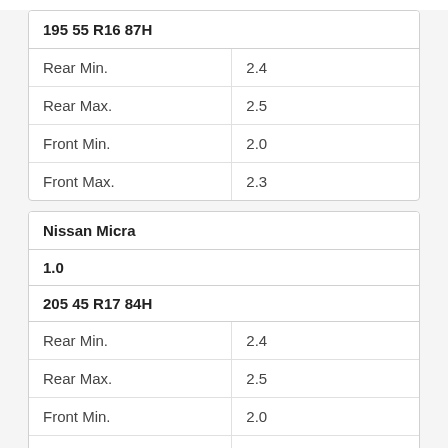| 195 55 R16 87H |  |
| --- | --- |
| Rear Min. | 2.4 |
| Rear Max. | 2.5 |
| Front Min. | 2.0 |
| Front Max. | 2.3 |
| Nissan Micra |  |
| --- | --- |
| 1.0 |  |
| 205 45 R17 84H |  |
| Rear Min. | 2.4 |
| Rear Max. | 2.5 |
| Front Min. | 2.0 |
| Front Max. | 2.3 |